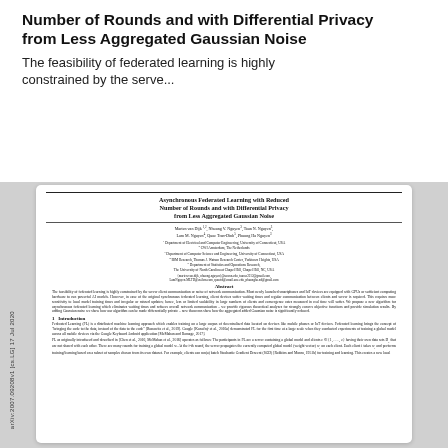Asynchronous Federated Learning with Reduced Number of Rounds and with Differential Privacy from Less Aggregated Gaussian Noise
The feasibility of federated learning is highly constrained by the serve...
[Figure (other): Scanned academic paper page showing title, authors, affiliations, abstract, and beginning of introduction section for an arXiv preprint on federated learning.]
arXiv:2007.09208v1 [cs.LG] 17 Jul 2020